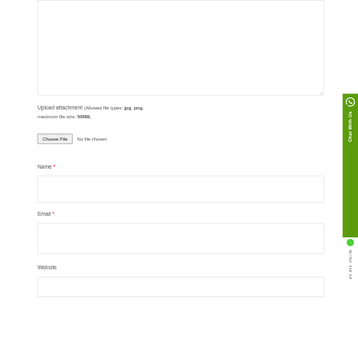[Figure (screenshot): Textarea input box (empty) with resize handle at bottom right]
Upload attachment (Allowed file types: jpg, png, maximum file size: 50MB.
Choose File  No file chosen
Name *
[Figure (screenshot): Empty text input field for Name]
Email *
[Figure (screenshot): Empty text input field for Email]
Website
[Figure (screenshot): Chat With Us green sidebar widget with WhatsApp icon and WE ARE ONLINE status]